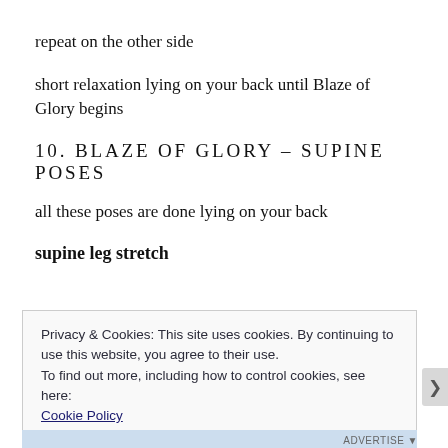repeat on the other side
short relaxation lying on your back until Blaze of Glory begins
10. BLAZE OF GLORY – SUPINE POSES
all these poses are done lying on your back
supine leg stretch
Privacy & Cookies: This site uses cookies. By continuing to use this website, you agree to their use.
To find out more, including how to control cookies, see here:
Cookie Policy
Close and accept